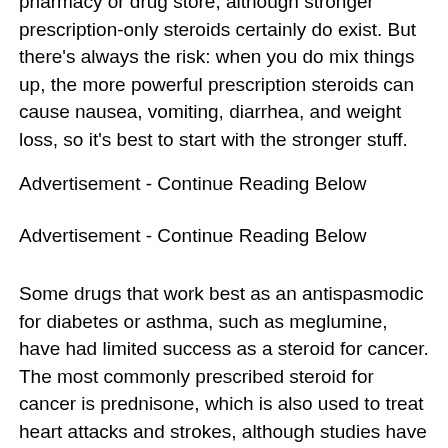pharmacy or drug store, although stronger prescription-only steroids certainly do exist. But there's always the risk: when you do mix things up, the more powerful prescription steroids can cause nausea, vomiting, diarrhea, and weight loss, so it's best to start with the stronger stuff.
Advertisement - Continue Reading Below
Advertisement - Continue Reading Below
Some drugs that work best as an antispasmodic for diabetes or asthma, such as meglumine, have had limited success as a steroid for cancer. The most commonly prescribed steroid for cancer is prednisone, which is also used to treat heart attacks and strokes, although studies have sometimes shown a link between prednisone and breast cancer in women, over the counter steroids for weight loss. The strongest of these drugs